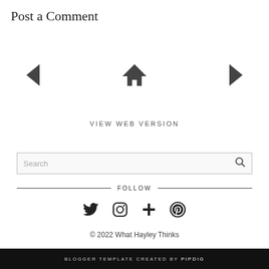Post a Comment
[Figure (infographic): Navigation icons: left arrow, home icon, right arrow]
VIEW WEB VERSION
[Figure (infographic): Search box with placeholder text 'Search' and a magnifying glass icon]
FOLLOW
[Figure (infographic): Social media icons: Twitter, Instagram, Google Plus, Pinterest]
© 2022 What Hayley Thinks
BLOGGER TEMPLATE CREATED BY pipdig